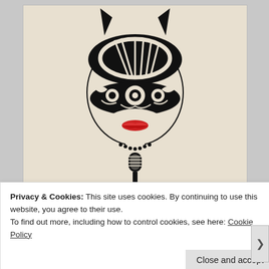[Figure (illustration): Black and white stencil-style illustration of a woman wearing a decorative cat-ear headpiece and an ornate floral mask covering her eyes. She has red lips and holds a vintage microphone. The artwork is in a graphic, high-contrast style with a cream/off-white background.]
Privacy & Cookies: This site uses cookies. By continuing to use this website, you agree to their use.
To find out more, including how to control cookies, see here: Cookie Policy